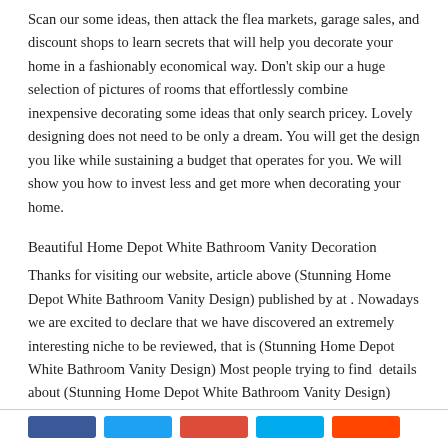Scan our some ideas, then attack the flea markets, garage sales, and discount shops to learn secrets that will help you decorate your home in a fashionably economical way. Don't skip our a huge selection of pictures of rooms that effortlessly combine inexpensive decorating some ideas that only search pricey. Lovely designing does not need to be only a dream. You will get the design you like while sustaining a budget that operates for you. We will show you how to invest less and get more when decorating your home.
Beautiful Home Depot White Bathroom Vanity Decoration
Thanks for visiting our website, article above (Stunning Home Depot White Bathroom Vanity Design) published by at . Nowadays we are excited to declare that we have discovered an extremely interesting niche to be reviewed, that is (Stunning Home Depot White Bathroom Vanity Design) Most people trying to find  details about (Stunning Home Depot White Bathroom Vanity Design)